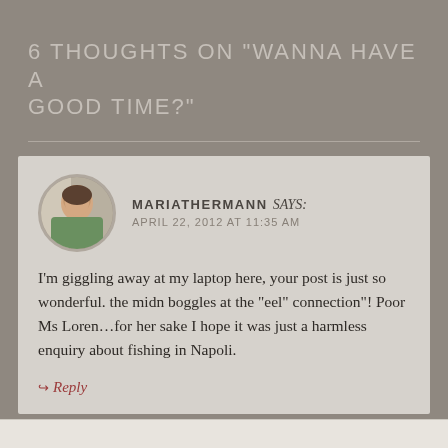6 THOUGHTS ON “WANNA HAVE A GOOD TIME?”
MARIATHERMANN says: APRIL 22, 2012 AT 11:35 AM
I’m giggling away at my laptop here, your post is just so wonderful. the midn boggles at the “eel” connection”! Poor Ms Loren…for her sake I hope it was just a harmless enquiry about fishing in Napoli.
↪ Reply